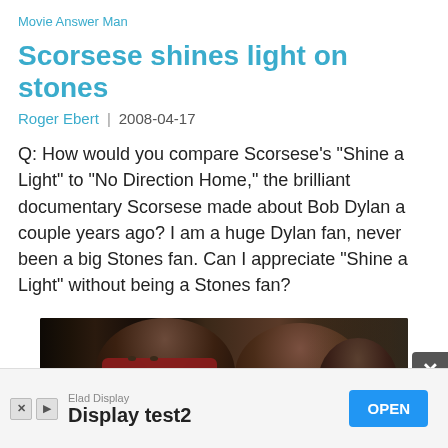Movie Answer Man
Scorsese shines light on stones
Roger Ebert  |  2008-04-17
Q: How would you compare Scorsese's "Shine a Light" to "No Direction Home," the brilliant documentary Scorsese made about Bob Dylan a couple years ago? I am a huge Dylan fan, never been a big Stones fan. Can I appreciate "Shine a Light" without being a Stones fan?
[Figure (photo): Movie still showing people, one with a red scarf covering their face, others in background]
Elad Display
Display test2
OPEN